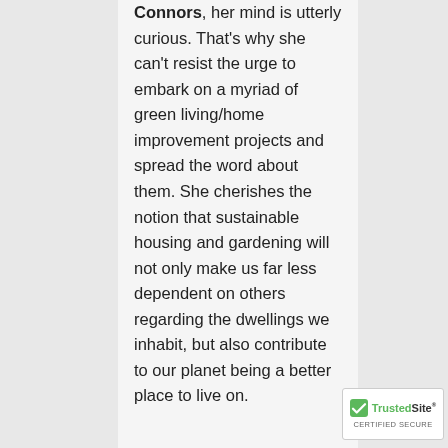Connors, her mind is utterly curious. That's why she can't resist the urge to embark on a myriad of green living/home improvement projects and spread the word about them. She cherishes the notion that sustainable housing and gardening will not only make us far less dependent on others regarding the dwellings we inhabit, but also contribute to our planet being a better place to live on.
[Figure (logo): TrustedSite Certified Secure badge]